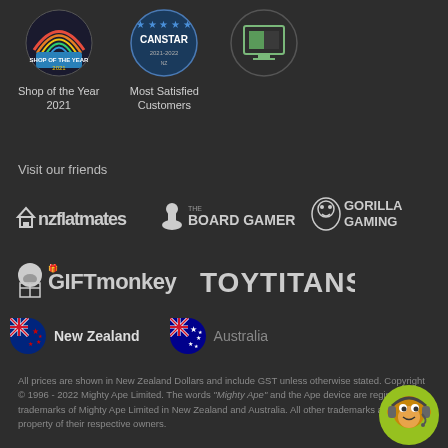[Figure (logo): Shop of the Year 2021 badge - circular badge with rainbow colors]
Shop of the Year
2021
[Figure (logo): Canstar Most Satisfied Customers badge - blue circular badge]
Most Satisfied
Customers
[Figure (logo): Third award badge - circular green/grey icon]
Visit our friends
[Figure (logo): nzflatmates logo - white text logo]
[Figure (logo): The Board Gamer logo - white text with game piece icon]
[Figure (logo): Gorilla Gaming logo - gorilla icon with white text]
[Figure (logo): GiftMonkey logo - monkey icon with stylized text]
[Figure (logo): ToyTitans logo - white bold text]
[Figure (logo): New Zealand flag circle icon]
New Zealand
[Figure (logo): Australia flag circle icon]
Australia
All prices are shown in New Zealand Dollars and include GST unless otherwise stated. Copyright © 1996 - 2022 Mighty Ape Limited. The words "Mighty Ape" and the Ape device are registered trademarks of Mighty Ape Limited in New Zealand and Australia. All other trademarks are the property of their respective owners.
[Figure (illustration): Monkey mascot with headset - customer support icon]